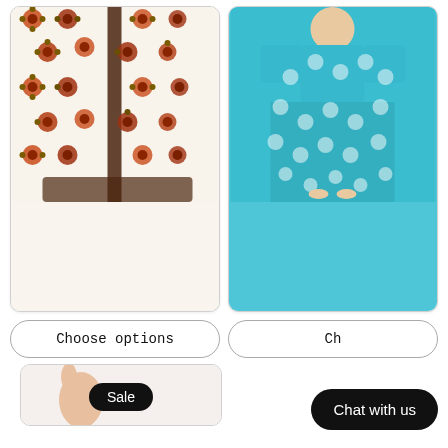[Figure (photo): Brown Viscose Silk Dress With Black Phulkari Jacket - floral patterned white and brown dress on mannequin]
[Figure (photo): Blue Banarasi Silk Anarkali Dress - turquoise blue floral patterned long dress on mannequin]
Brown Viscose Silk Dress With Black Phulkari Jacket
Blue Banarasi Silk Anarkali Dress
$ 135.00 USD  $ 108.00 USD
$ 110.00 USD  $ 88.00 USD
Choose options
Ch...
[Figure (photo): Partial product card at bottom with Sale badge]
Sale
Chat with us